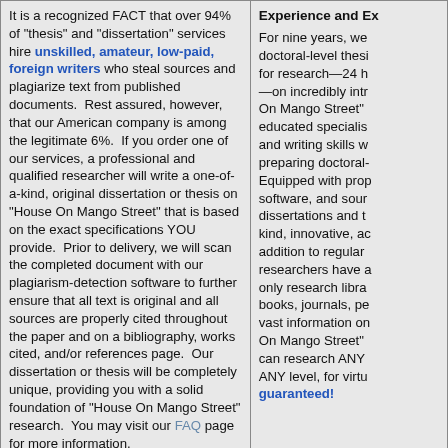It is a recognized FACT that over 94% of "thesis" and "dissertation" services hire unskilled, amateur, low-paid, foreign writers who steal sources and plagiarize text from published documents. Rest assured, however, that our American company is among the legitimate 6%. If you order one of our services, a professional and qualified researcher will write a one-of-a-kind, original dissertation or thesis on "House On Mango Street" that is based on the exact specifications YOU provide. Prior to delivery, we will scan the completed document with our plagiarism-detection software to further ensure that all text is original and all sources are properly cited throughout the paper and on a bibliography, works cited, and/or references page. Our dissertation or thesis will be completely unique, providing you with a solid foundation of "House On Mango Street" research. You may visit our FAQ page for more information.
Experience and Ex
For nine years, we doctoral-level thesi for research—24 h —on incredibly intr On Mango Street" educated specialis and writing skills w preparing doctoral- Equipped with prop software, and sour dissertations and t kind, innovative, ac addition to regular researchers have a only research libra books, journals, pe vast information on On Mango Street" can research ANY ANY level, for virtu guaranteed!
More of Our Thesis Writing Options Associated with "House On Mango Street":